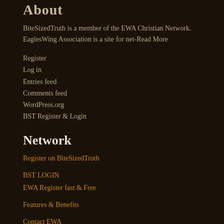About
BiteSizedTruth is a member of the EWA Christian Network. EaglesWing Association is a site for net-Read More
Register
Log in
Entries feed
Comments feed
WordPress.org
BST Register & Login
Network
Register on BiteSizedTruth
BST LOGIN
EWA Register fast & Free
Features & Benefits
Contact EWA
Partners
AoPPW
ActsContinues